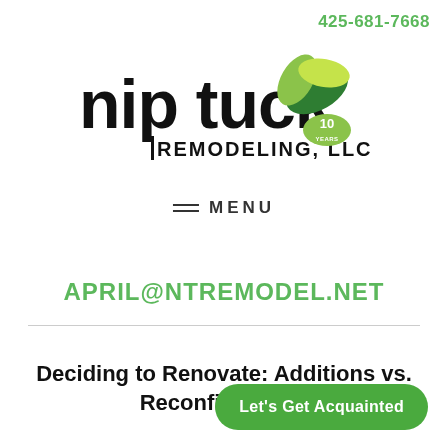425-681-7668
[Figure (logo): Nip Tuck Remodeling, LLC logo with green leaves and 10 years badge]
≡ MENU
APRIL@NTREMODEL.NET
Deciding to Renovate: Additions vs. Reconfiguration
Let's Get Acquainted